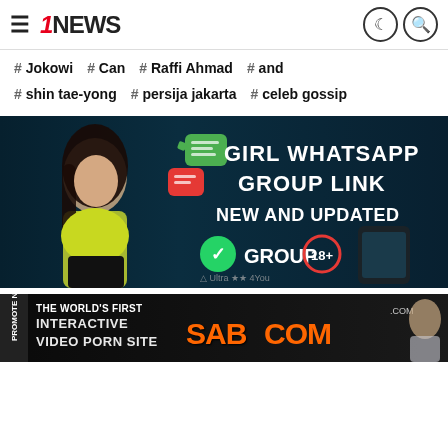1NEWS — navigation header with hamburger menu, logo, and icons
# Jokowi  # Can  # Raffi Ahmad  # and
# shin tae-yong  # persija jakarta  # celeb gossip
[Figure (photo): Advertisement banner: Girl WhatsApp Group Link New and Updated, GROUP 18+, Ultra 4You branding. Features a young woman in a yellow crop top against dark background with WhatsApp group chat imagery.]
[Figure (photo): Advertisement banner: The World's First Interactive Video Porn Site – SABOOM.com, with text PROMOTE NOW on the left side.]